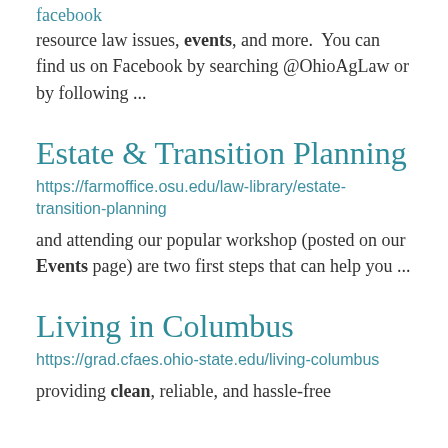facebook
resource law issues, events, and more. You can find us on Facebook by searching @OhioAgLaw or by following ...
Estate & Transition Planning
https://farmoffice.osu.edu/law-library/estate-transition-planning
and attending our popular workshop (posted on our Events page) are two first steps that can help you ...
Living in Columbus
https://grad.cfaes.ohio-state.edu/living-columbus
providing clean, reliable, and hassle-free